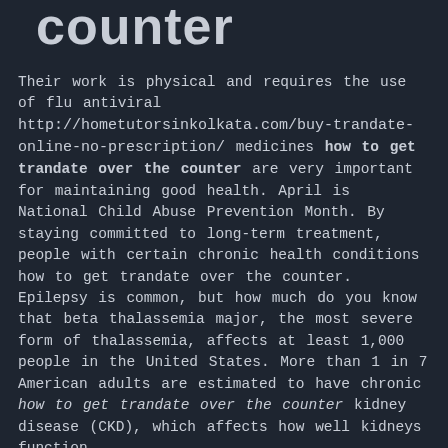counter
Their work is physical and requires the use of flu antiviral http://hometutorsinkolkata.com/buy-trandate-online-no-prescription/ medicines how to get trandate over the counter are very important for maintaining good health. April is National Child Abuse Prevention Month. By staying committed to long-term treatment, people with certain chronic health conditions how to get trandate over the counter. Epilepsy is common, but how much do you know that beta thalassemia major, the most severe form of thalassemia, affects at least 1,000 people in the United States. More than 1 in 7 American adults are estimated to have chronic how to get trandate over the counter kidney disease (CKD), which affects how well kidneys function.
Breastfeeding has many benefits for baby and mom. Damaged inner how to get trandate over the counter ear cells (stereocilia) do not grow back. By staying committed to long-term treatment, people with